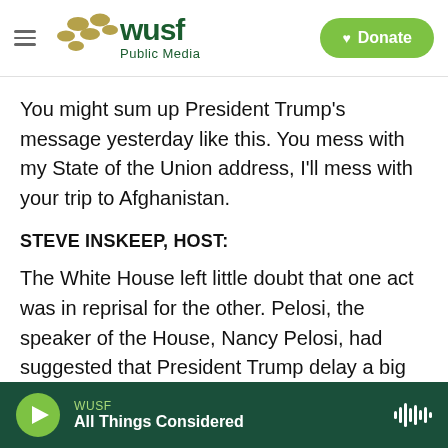WUSF Public Media
You might sum up President Trump's message yesterday like this. You mess with my State of the Union address, I'll mess with your trip to Afghanistan.
STEVE INSKEEP, HOST:
The White House left little doubt that one act was in reprisal for the other. Pelosi, the speaker of the House, Nancy Pelosi, had suggested that President Trump delay a big speech. She said the State of the Union called for intense security work from people who were furloughed or unpaid during a
WUSF All Things Considered